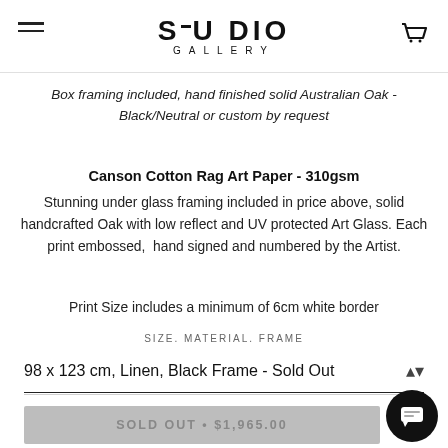STUDIO GALLERY
Box framing included, hand finished solid Australian Oak - Black/Neutral or custom by request
Canson Cotton Rag Art Paper - 310gsm
Stunning under glass framing included in price above, solid handcrafted Oak with low reflect and UV protected Art Glass. Each print embossed,  hand signed and numbered by the Artist.
Print Size includes a minimum of 6cm white border
SIZE. MATERIAL. FRAME
98 x 123 cm, Linen, Black Frame - Sold Out
SOLD OUT • $1,965.00